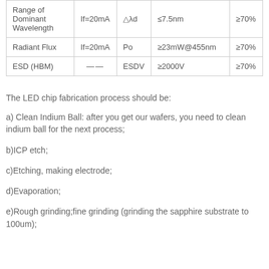| Range of Dominant Wavelength | If=20mA | △λd | ≤7.5nm | ≥70% |
| Radiant Flux | If=20mA | Po | ≥23mW@455nm | ≥70% |
| ESD (HBM) | —— | ESDV | ≥2000V | ≥70% |
The LED chip fabrication process should be:
a) Clean Indium Ball: after you get our wafers, you need to clean indium ball for the next process;
b)ICP etch;
c)Etching, making electrode;
d)Evaporation;
e)Rough grinding;fine grinding (grinding the sapphire substrate to 100um);